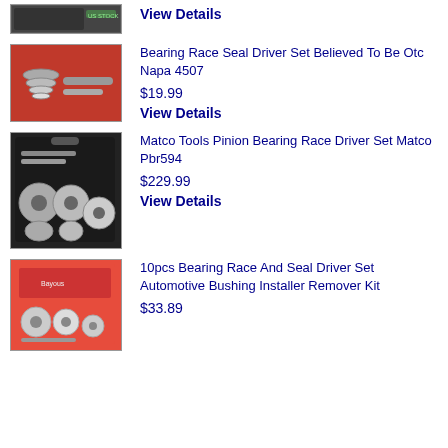View Details
[Figure (photo): Partial product image at top of page, appears to be a tool set in dark packaging with US STOCK label]
[Figure (photo): Bearing Race Seal Driver Set in red case with circular discs and driver rod]
Bearing Race Seal Driver Set Believed To Be Otc Napa 4507
$19.99
View Details
[Figure (photo): Matco Tools Pinion Bearing Race Driver Set in black carrying case with silver discs and bars]
Matco Tools Pinion Bearing Race Driver Set Matco Pbr594
$229.99
View Details
[Figure (photo): 10pcs Bearing Race And Seal Driver Set in red case with silver discs, Bayou brand]
10pcs Bearing Race And Seal Driver Set Automotive Bushing Installer Remover Kit
$33.89